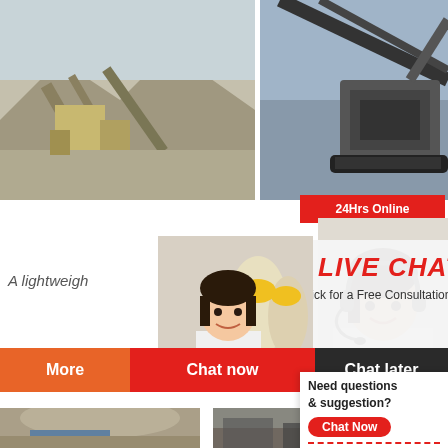[Figure (logo): CRUSHER Mining Equipment logo with red shopping bag icon and bold text]
[Figure (photo): Mining/quarry site with conveyor belts and equipment]
[Figure (photo): Large mobile crusher/mining machine]
24Hrs Online
A lightweigh
[Figure (photo): Female engineer in white shirt smiling, construction workers in yellow helmets behind]
[Figure (photo): Customer service lady with headset smiling]
LIVE CHAT
Click for a Free Consultation
More
Chat now
Chat later
[Figure (photo): Mining/quarry operation with dust and machinery]
[Figure (photo): Industrial scrap or mining site]
Need questions & suggestion?
Chat Now
Enquiry
limingjlmofen@sina.com